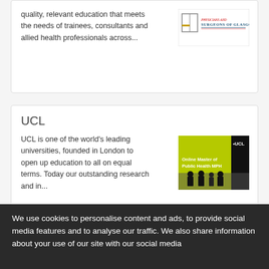quality, relevant education that meets the needs of trainees, consultants and allied health professionals across...
[Figure (logo): Physicians and Surgeons of Glasgow logo]
UCL
UCL is one of the world's leading universities, founded in London to open up education to all on equal terms. Today our outstanding research and in...
[Figure (photo): UCL Online Master of Public Health MPH banner with silhouettes on green background]
University of Glasgow
Founded in 1451, the University of Glasgow is the fourth oldest university in
[Figure (logo): University of Glasgow logo on dark blue background]
We use cookies to personalise content and ads, to provide social media features and to analyse our traffic. We also share information about your use of our site with our social media